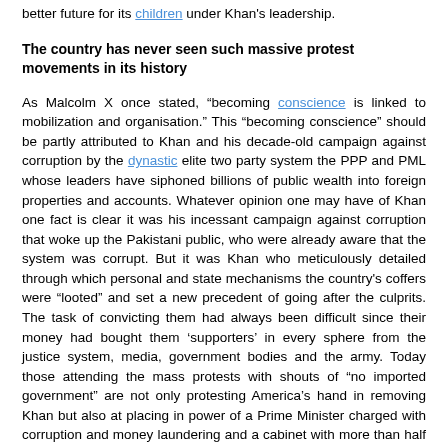better future for its children under Khan's leadership.
The country has never seen such massive protest movements in its history
As Malcolm X once stated, “becoming conscience is linked to mobilization and organisation.” This “becoming conscience” should be partly attributed to Khan and his decade-old campaign against corruption by the dynastic elite two party system the PPP and PML whose leaders have siphoned billions of public wealth into foreign properties and accounts. Whatever opinion one may have of Khan one fact is clear it was his incessant campaign against corruption that woke up the Pakistani public, who were already aware that the system was corrupt. But it was Khan who meticulously detailed through which personal and state mechanisms the country's coffers were “looted” and set a new precedent of going after the culprits. The task of convicting them had always been difficult since their money had bought them ‘supporters’ in every sphere from the justice system, media, government bodies and the army. Today those attending the mass protests with shouts of “no imported government” are not only protesting America’s hand in removing Khan but also at placing in power of a Prime Minister charged with corruption and money laundering and a cabinet with more than half of its members facing criminal charges.